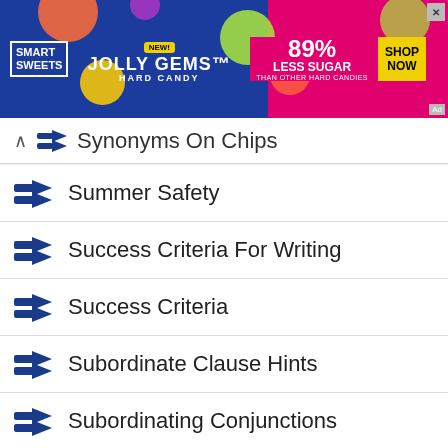[Figure (other): Smart Sweets Jolly Gems Hard Candy advertisement banner. Blue and pink background. Text: NEW! JOLLY GEMS HARD CANDY, 89% LESS SUGAR THAN OTHER HARD CANDIES, SHOP NOW button.]
Synonyms On Chips
Summer Safety
Success Criteria For Writing
Success Criteria
Subordinate Clause Hints
Subordinating Conjunctions
Students Daily Routine